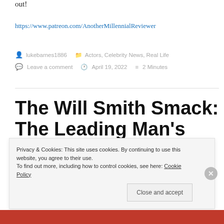out!
https://www.patreon.com/AnotherMillennialReviewer
lukebarnes1886   Actors, Celebrity News, Real Life
Leave a comment   April 19, 2022   2 Minutes
The Will Smith Smack: The Leading Man's Reckoning With Toxic
Privacy & Cookies: This site uses cookies. By continuing to use this website, you agree to their use. To find out more, including how to control cookies, see here: Cookie Policy
Close and accept